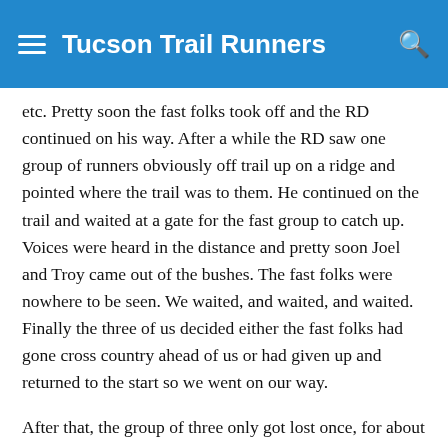Tucson Trail Runners
etc. Pretty soon the fast folks took off and the RD continued on his way. After a while the RD saw one group of runners obviously off trail up on a ridge and pointed where the trail was to them. He continued on the trail and waited at a gate for the fast group to catch up. Voices were heard in the distance and pretty soon Joel and Troy came out of the bushes. The fast folks were nowhere to be seen. We waited, and waited, and waited. Finally the three of us decided either the fast folks had gone cross country ahead of us or had given up and returned to the start so we went on our way.
After that, the group of three only got lost once, for about 1/2 mile, and came into the aid a little over 4 hours after the start. The trail was terribly overgrown and all runners legs can attest to that. Patricia was waiting but obviously concerned since the RD had made the same trip a year ago in a bit over 3 hours.
Then came the decision - what about the other folks? We waited